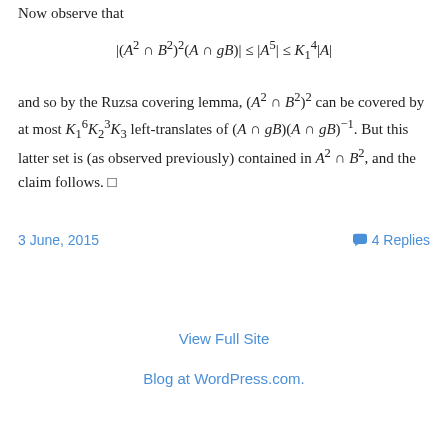Now observe that
and so by the Ruzsa covering lemma, (A^2 ∩ B^2)^2 can be covered by at most K_1^6 K_2^3 K_3 left-translates of (A ∩ gB)(A ∩ gB)^{-1}. But this latter set is (as observed previously) contained in A^2 ∩ B^2, and the claim follows. □
3 June, 2015
4 Replies
View Full Site
Blog at WordPress.com.